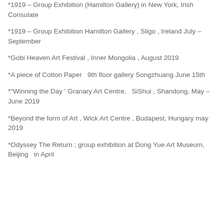*1919 – Group Exhibition (Hamilton Gallery) in New York, Irish Consulate
*1919 – Group Exhibition Hamilton Gallery , Sligo , Ireland July – September
*Gobi Heaven Art Festival , Inner Mongolia , August 2019
*A piece of Cotton Paper  9th floor gallery Songzhuang June 15th
*"Winning the Day ' Granary Art Centre,  SiShui , Shandong, May – June 2019
*Beyond the form of Art , Wick Art Centre , Budapest, Hungary may 2019
*Odyssey The Return ; group exhibition at Dong Yue Art Museum, Beijing  in April